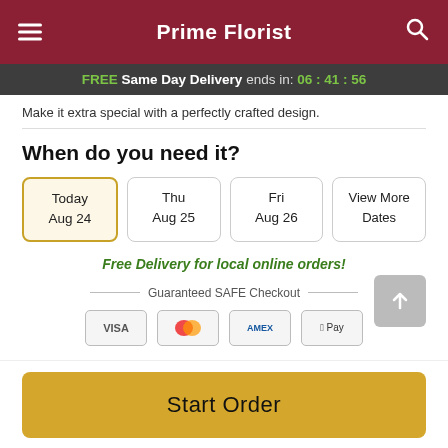Prime Florist
FREE Same Day Delivery ends in: 06 : 41 : 56
Make it extra special with a perfectly crafted design.
When do you need it?
Today Aug 24
Thu Aug 25
Fri Aug 26
View More Dates
Free Delivery for local online orders!
Guaranteed SAFE Checkout
Start Order